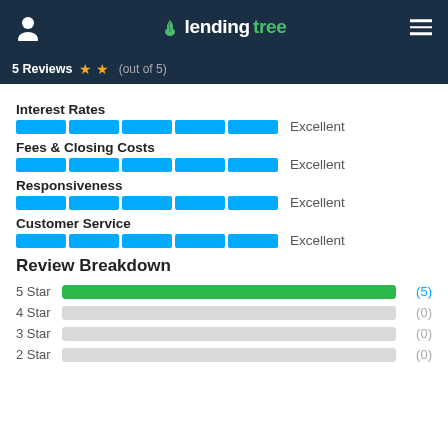LendingTree
5 Reviews (out of 5)
Interest Rates
[Figure (bar-chart): Interest Rates]
Excellent
Fees & Closing Costs
[Figure (bar-chart): Fees & Closing Costs]
Excellent
Responsiveness
[Figure (bar-chart): Responsiveness]
Excellent
Customer Service
[Figure (bar-chart): Customer Service]
Excellent
Review Breakdown
[Figure (bar-chart): Review Breakdown]